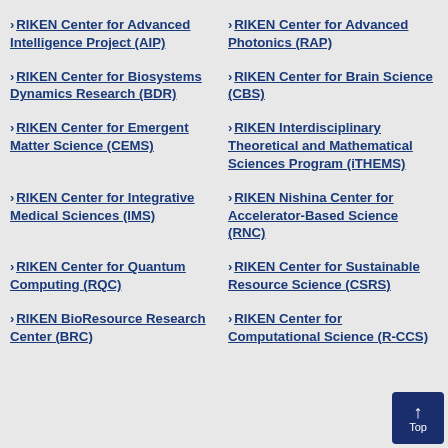RIKEN Center for Advanced Intelligence Project (AIP)
RIKEN Center for Advanced Photonics (RAP)
RIKEN Center for Biosystems Dynamics Research (BDR)
RIKEN Center for Brain Science (CBS)
RIKEN Center for Emergent Matter Science (CEMS)
RIKEN Interdisciplinary Theoretical and Mathematical Sciences Program (iTHEMS)
RIKEN Center for Integrative Medical Sciences (IMS)
RIKEN Nishina Center for Accelerator-Based Science (RNC)
RIKEN Center for Quantum Computing (RQC)
RIKEN Center for Sustainable Resource Science (CSRS)
RIKEN BioResource Research Center (BRC)
RIKEN Center for Computational Science (R-CCS)